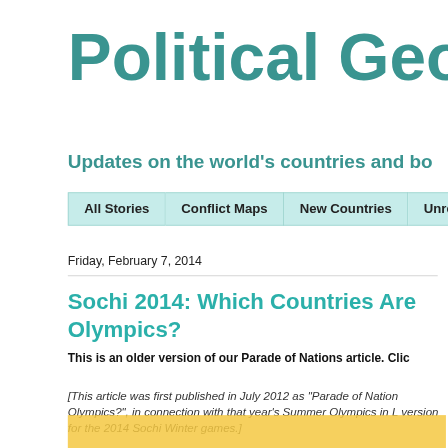Political Geog
Updates on the world's countries and bo
All Stories
Conflict Maps
New Countries
Unrecogniz
Friday, February 7, 2014
Sochi 2014: Which Countries Are Olympics?
This is an older version of our Parade of Nations article. Clic
[This article was first published in July 2012 as "Parade of Nation Olympics?", in connection with that year's Summer Olympics in L version for the 2014 Sochi Winter games.]
[Figure (photo): Partial view of an orange/yellow image at the bottom of the page, likely an Olympic-related graphic]